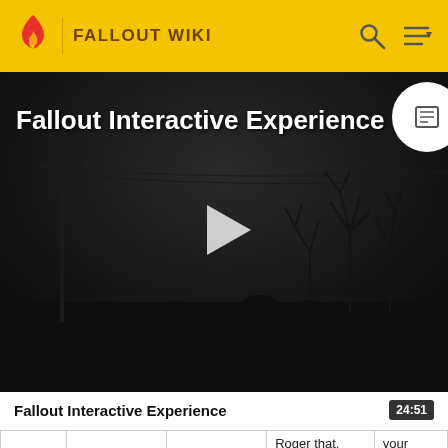FALLOUT WIKI
[Figure (screenshot): Dark post-apocalyptic wasteland scene with utility poles and bare trees. Video player overlay with title 'Fallout Interactive Experience' and a white play button triangle in the center. A circular icon with a list/document symbol is visible in the top-right corner.]
Fallout Interactive Experience
24:51
|  |  |  | Roger that. | your |
| 131 |  |  |  | (Cont
Repo
wher |